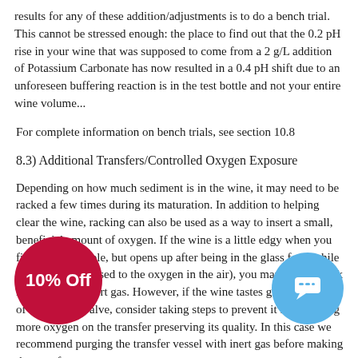results for any of these addition/adjustments is to do a bench trial. This cannot be stressed enough: the place to find out that the 0.2 pH rise in your wine that was supposed to come from a 2 g/L addition of Potassium Carbonate has now resulted in a 0.4 pH shift due to an unforeseen buffering reaction is in the test bottle and not your entire wine volume...
For complete information on bench trials, see section 10.8
8.3) Additional Transfers/Controlled Oxygen Exposure
Depending on how much sediment is in the wine, it may need to be racked a few times during its maturation. In addition to helping clear the wine, racking can also be used as a way to insert a small, beneficial amount of oxygen. If the wine is a little edgy when you first taste a sample, but opens up after being in the glass for a while (from being exposed to the oxygen in the air), you may want to rack it without any inert gas. However, if the wine tastes great right out of the sample valve, consider taking steps to prevent it from getting more oxygen on the transfer preserving its quality. In this case we recommend purging the transfer vessel with inert gas before making the transfer.